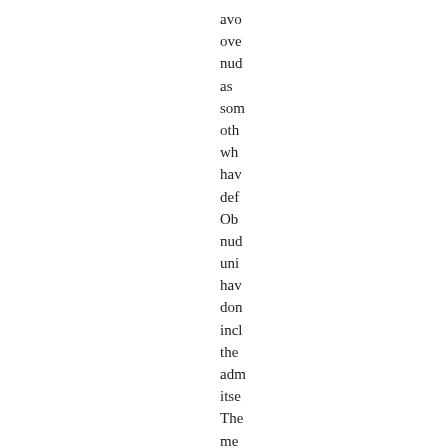avo ove nud as som oth wh hav def Ob nud uni hav don incl the adn itse The me rec beh scie